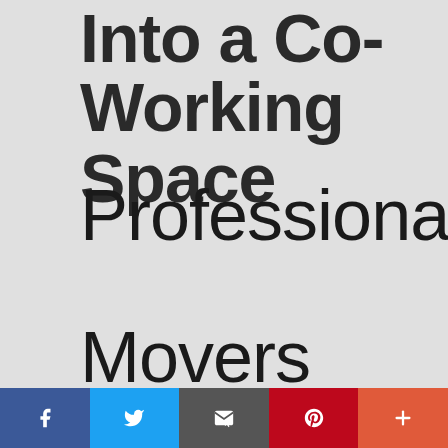Into a Co-Working Space Professional Movers
If you are moving your office into a co-working space, you will need to use professional movers. This is because co-working spaces usually have very tight quarters, and it can be difficult to move
[Figure (infographic): Social sharing bar with Facebook, Twitter, Email, Pinterest, and More buttons]